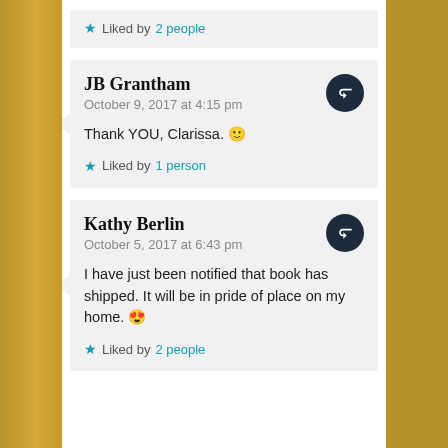Liked by 2 people
JB Grantham
October 9, 2017 at 4:15 pm
Thank YOU, Clarissa. 🙂
Liked by 1 person
Kathy Berlin
October 5, 2017 at 6:43 pm
I have just been notified that book has shipped. It will be in pride of place on my home. 😍
Liked by 2 people